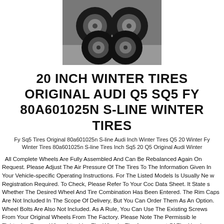[Figure (photo): Black and white photo of four car tires/wheels arranged in a group on a surface]
20 INCH WINTER TIRES ORIGINAL AUDI Q5 SQ5 FY 80A601025N S-LINE WINTER TIRES
Fy Sq5 Tires Original 80a601025n S-line Audi Inch Winter Tires Q5 20 Winter Fy Winter Tires 80a601025n S-line Tires Inch Sq5 20 Q5 Original Audi Winter
All Complete Wheels Are Fully Assembled And Can Be Rebalanced Again On Request. Please Adjust The Air Pressure Of The Tires To The Information Given In Your Vehicle-specific Operating Instructions. For The Listed Models Is Usually No New Registration Required. To Check, Please Refer To Your Coc Data Sheet. It States Whether The Desired Wheel And Tire Combination Has Been Entered. The Rim Caps Are Not Included In The Scope Of Delivery, But You Can Order Them As An Option. Wheel Bolts Are Also Not Included. As A Rule, You Can Use The Existing Screws From Your Original Wheels From The Factory. Please Note The Permissible Tightening Torque When Attaching The Wheels. The Assessment Of The Used